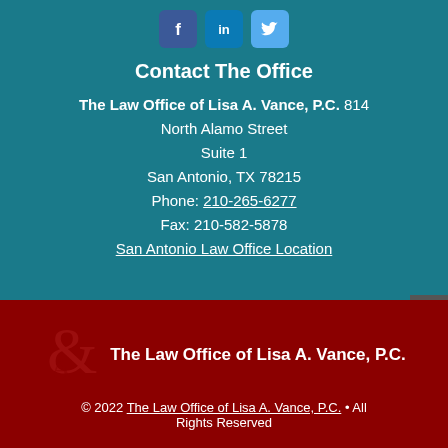[Figure (other): Social media icons for Facebook, LinkedIn, and Twitter]
Contact The Office
The Law Office of Lisa A. Vance, P.C. 814 North Alamo Street Suite 1 San Antonio, TX 78215 Phone: 210-265-6277 Fax: 210-582-5878 San Antonio Law Office Location
[Figure (logo): Law Office of Lisa A. Vance logo watermark in dark red]
The Law Office of Lisa A. Vance, P.C.
© 2022 The Law Office of Lisa A. Vance, P.C. • All Rights Reserved